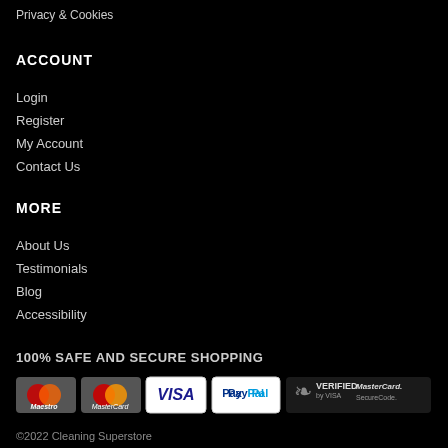Privacy & Cookies
ACCOUNT
Login
Register
My Account
Contact Us
MORE
About Us
Testimonials
Blog
Accessibility
100% SAFE AND SECURE SHOPPING
[Figure (logo): Payment method logos: Maestro, MasterCard, VISA, PayPal, Verified by VISA / MasterCard SecureCode]
©2022 Cleaning Superstore